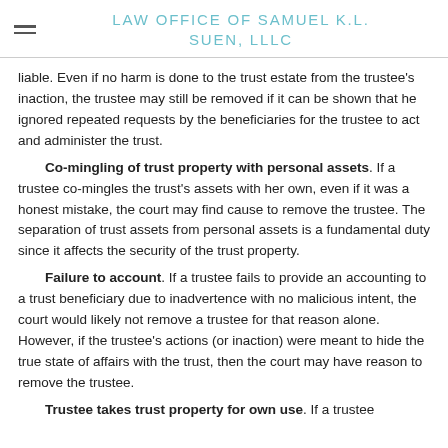LAW OFFICE OF SAMUEL K.L. SUEN, LLLC
liable.  Even if no harm is done to the trust estate from the trustee's inaction, the trustee may still be removed if it can be shown that he ignored repeated requests by the beneficiaries for the trustee to act and administer the trust.
Co-mingling of trust property with personal assets. If a trustee co-mingles the trust's assets with her own, even if it was a honest mistake, the court may find cause to remove the trustee.  The separation of trust assets from personal assets is a fundamental duty since it affects the security of the trust property.
Failure to account.  If a trustee fails to provide an accounting to a trust beneficiary due to inadvertence with no malicious intent, the court would likely not remove a trustee for that reason alone.  However, if the trustee's actions (or inaction) were meant to hide the true state of affairs with the trust, then the court may have reason to remove the trustee.
Trustee takes trust property for own use.  If a trustee